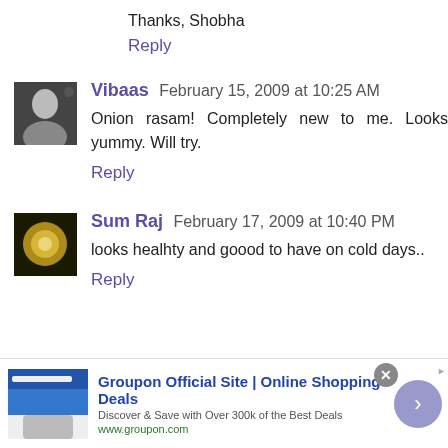Thanks, Shobha
Reply
Vibaas  February 15, 2009 at 10:25 AM
Onion rasam! Completely new to me. Looks yummy. Will try.
Reply
Sum Raj  February 17, 2009 at 10:40 PM
looks healhty and goood to have on cold days..
Reply
[Figure (infographic): Groupon advertisement banner with logo image and arrow button]